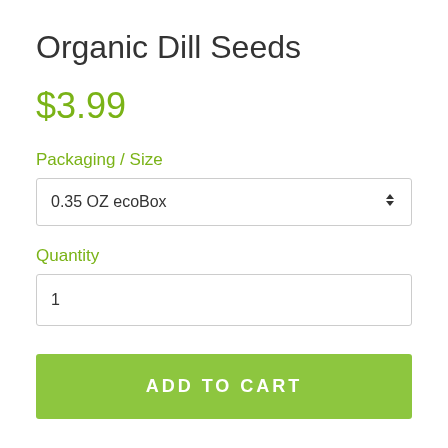Organic Dill Seeds
$3.99
Packaging / Size
0.35 OZ ecoBox
Quantity
1
ADD TO CART